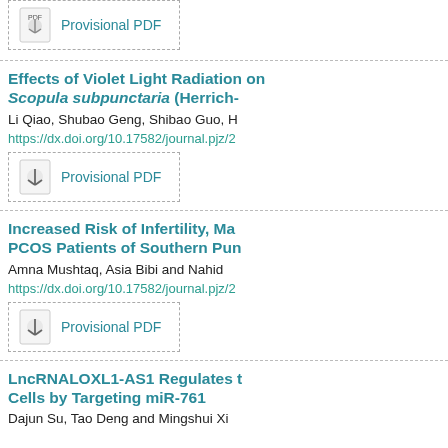[Figure (other): Provisional PDF button - top of page (partially visible)]
Effects of Violet Light Radiation on Scopula subpunctaria (Herrich-
Li Qiao, Shubao Geng, Shibao Guo, H
https://dx.doi.org/10.17582/journal.pjz/2
[Figure (other): Provisional PDF button]
Increased Risk of Infertility, Ma PCOS Patients of Southern Pun
Amna Mushtaq, Asia Bibi and Nahid
https://dx.doi.org/10.17582/journal.pjz/2
[Figure (other): Provisional PDF button]
LncRNALOXL1-AS1 Regulates t Cells by Targeting miR-761
Dajun Su, Tao Deng and Mingshui Xi